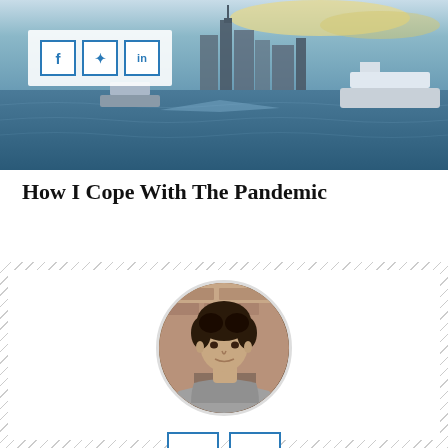[Figure (photo): Hero image showing a river scene with boats and city skyline at dusk, with social share buttons overlay (Facebook, Twitter, LinkedIn)]
How I Cope With The Pandemic
[Figure (photo): Author card with hatched border background, circular author portrait photo of a young man in grey t-shirt, and social share buttons (Facebook, LinkedIn) below]